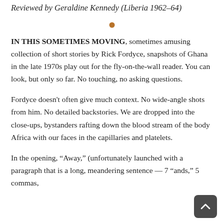Reviewed by Geraldine Kennedy (Liberia 1962–64)
[Figure (other): Small orange/brown dot separator]
IN THIS SOMETIMES MOVING, sometimes amusing collection of short stories by Rick Fordyce, snapshots of Ghana in the late 1970s play out for the fly-on-the-wall reader. You can look, but only so far. No touching, no asking questions.
Fordyce doesn't often give much context. No wide-angle shots from him. No detailed backstories. We are dropped into the close-ups, bystanders rafting down the blood stream of the body Africa with our faces in the capillaries and platelets.
In the opening, “Away,” (unfortunately launched with a paragraph that is a long, meandering sentence — 7 “ands,” 5 commas,